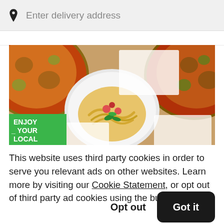Enter delivery address
[Figure (photo): Overhead photo of food dishes including pizzas and a pasta dish in a white bowl on a wooden table. A green badge reads 'ENJOY YOUR LOCAL'.]
This website uses third party cookies in order to serve you relevant ads on other websites. Learn more by visiting our Cookie Statement, or opt out of third party ad cookies using the button below.
Opt out
Got it